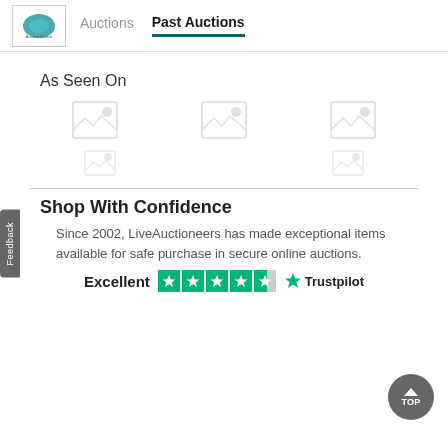Auctions | Past Auctions
As Seen On
[Figure (illustration): Five broken/missing image placeholders arranged in two rows under 'As Seen On' section]
Shop With Confidence
Since 2002, LiveAuctioneers has made exceptional items available for safe purchase in secure online auctions.
[Figure (logo): Excellent rating with Trustpilot stars and Trustpilot logo]